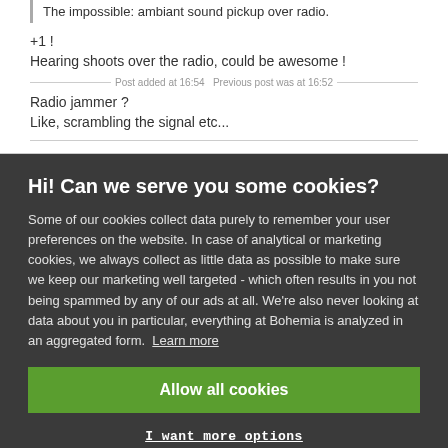The impossible: ambiant sound pickup over radio.
+1 !
Hearing shoots over the radio, could be awesome !
Post added at 16:54 — Previous post was at 16:52 —
Radio jammer ?
Like, scrambling the signal etc...
Hi! Can we serve you some cookies?
Some of our cookies collect data purely to remember your user preferences on the website. In case of analytical or marketing cookies, we always collect as little data as possible to make sure we keep our marketing well targeted - which often results in you not being spammed by any of our ads at all. We're also never looking at data about you in particular, everything at Bohemia is analyzed in an aggregated form. Learn more
Allow all cookies
I want more options